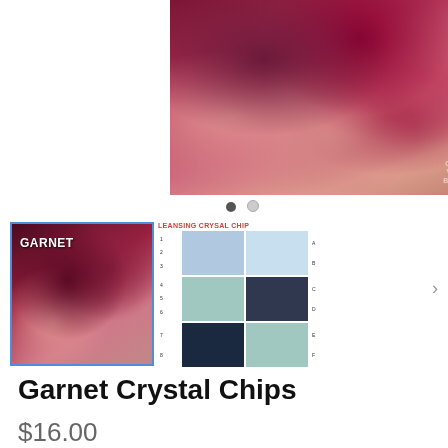[Figure (photo): Close-up photo of dark red/purple Garnet Crystal Chips held in a hand, with Crystal Vibes by B&B watermark in the corner and navigation dots below]
[Figure (photo): Thumbnail of garnet crystal chips with GARNET label, selected (blue border)]
[Figure (photo): Secondary thumbnail showing grid of crystal chip images with title LEANSING CRYSAL CHIP]
Garnet Crystal Chips
$16.00
All natural tumbled Garnet Crystal Chips .
The great stabilizing stone
Bestows vitality
Promotes balance and harmony
Enhances emotional healing
Protects/strengthens chakras